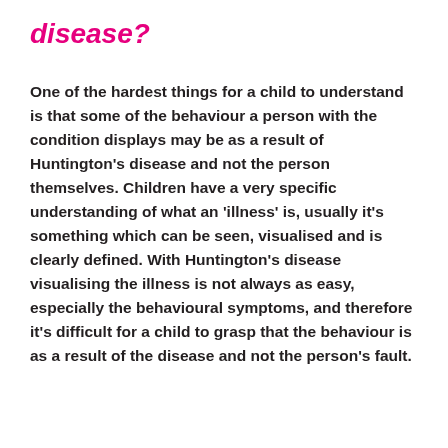disease?
One of the hardest things for a child to understand is that some of the behaviour a person with the condition displays may be as a result of Huntington's disease and not the person themselves. Children have a very specific understanding of what an 'illness' is, usually it's something which can be seen, visualised and is clearly defined. With Huntington's disease visualising the illness is not always as easy, especially the behavioural symptoms, and therefore it's difficult for a child to grasp that the behaviour is as a result of the disease and not the person's fault.